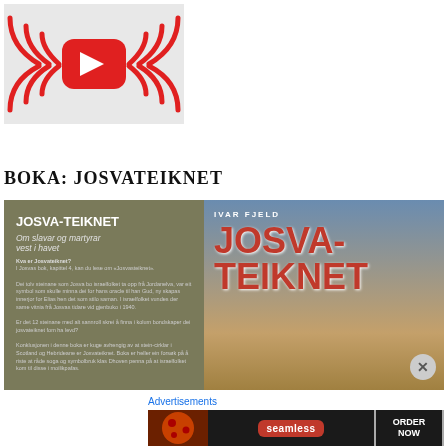[Figure (screenshot): YouTube-style icon with red play button and red radio wave graphics on light background]
BOKA: JOSVATEIKNET
[Figure (illustration): Book promotional banner with yellow background. Left side shows olive/gray book cover with text 'JOSVA-TEIKNET Om slavar og martyrar vest i havet'. Right side shows book cover design with 'IVAR FJELD' author name and large red text 'JOSVA-TEIKNET' against a sky background with standing stones.]
Advertisements
[Figure (screenshot): Advertisement banner for Seamless food ordering service showing pizza image, seamless logo, and ORDER NOW button]